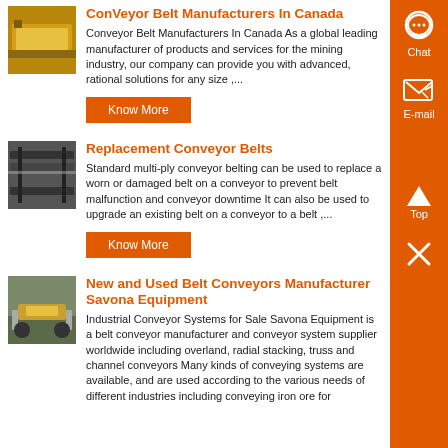[Figure (photo): Yellow conveyor belt equipment image]
ConVeyor Belt Manufacturers In Canada
Conveyor Belt Manufacturers In Canada As a global leading manufacturer of products and services for the mining industry, our company can provide you with advanced, rational solutions for any size ,...
Know More
[Figure (photo): Replacement conveyor belts on industrial structure]
Replacement Conveyor Belts
Standard multi-ply conveyor belting can be used to replace a worn or damaged belt on a conveyor to prevent belt malfunction and conveyor downtime It can also be used to upgrade an existing belt on a conveyor to a belt ,...
Know More
[Figure (photo): New and used belt conveyors at Savona Equipment site]
New and Used Belt Conveyors Manufacturer Savona Equipment
Industrial Conveyor Systems for Sale Savona Equipment is a belt conveyor manufacturer and conveyor system supplier worldwide including overland, radial stacking, truss and channel conveyors Many kinds of conveying systems are available, and are used according to the various needs of different industries including conveying iron ore for